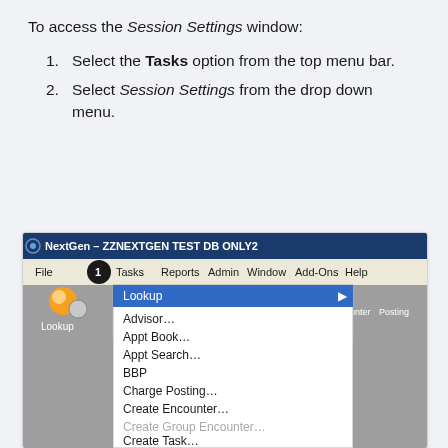To access the Session Settings window:
Select the Tasks option from the top menu bar.
Select Session Settings from the drop down menu.
[Figure (screenshot): Screenshot of NextGen - ZZNEXTGEN TEST DB ONLY2 application showing the Tasks menu open with dropdown items: Lookup, Advisor..., Appt Book..., Appt Search..., BBP, Charge Posting..., Create Encounter..., Create Group Encounter..., Create Task.... A circled number 1 highlights the Tasks menu item.]